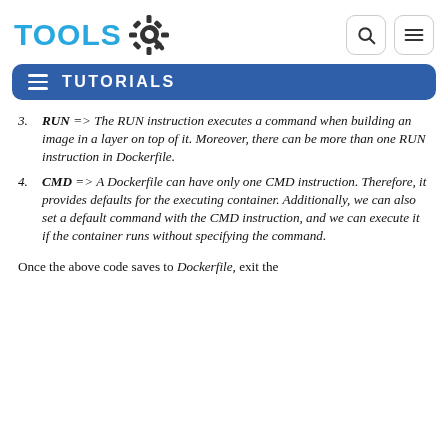TOOLS [logo with gear icon] [search icon] [menu icon]
TUTORIALS
3. RUN => The RUN instruction executes a command when building an image in a layer on top of it. Moreover, there can be more than one RUN instruction in Dockerfile.
4. CMD =>  A Dockerfile can have only one CMD instruction. Therefore, it provides defaults for the executing container. Additionally, we can also set a default command with the CMD instruction, and we can execute it if the container runs without specifying the command.
Once the above code saves to Dockerfile, exit the